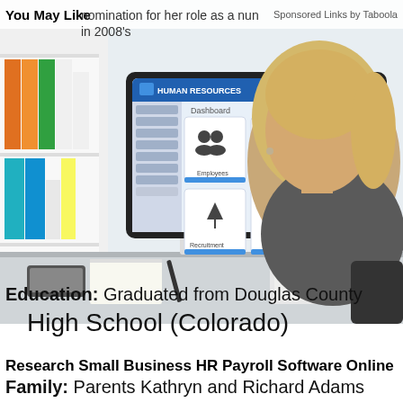You May Like | nomination for her role as a nun in 2008's | Sponsored Links by Taboola
[Figure (photo): Woman with blonde hair sitting at a desk using a computer displaying a Human Resources dashboard with icons for Employees, Payroll, Accounts, Recruitment, Training, and Performance]
Research Small Business HR Payroll Software Online
Education: Graduated from Douglas County High School (Colorado)
HR Outsourcing - Search Ads
Search Now
Family: Parents Kathryn and Richard Adams